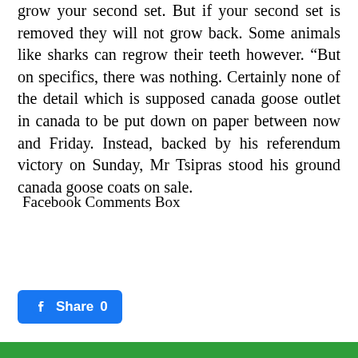grow your second set. But if your second set is removed they will not grow back. Some animals like sharks can regrow their teeth however. “But on specifics, there was nothing. Certainly none of the detail which is supposed canada goose outlet in canada to be put down on paper between now and Friday. Instead, backed by his referendum victory on Sunday, Mr Tsipras stood his ground canada goose coats on sale.
Facebook Comments Box
[Figure (infographic): Social sharing buttons: Facebook (blue), Twitter (light blue), Email (blue), Plus/Share (blue), and a Facebook Share button with count 0]